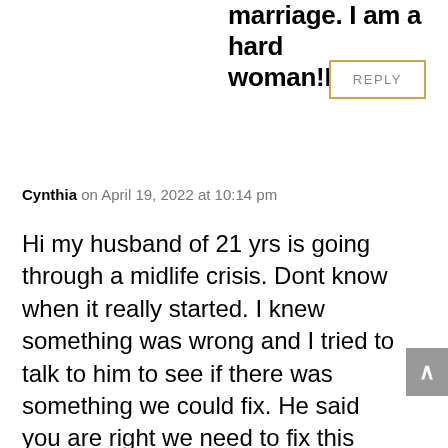marriage. I am a hard woman!Help!!!
REPLY
Cynthia on April 19, 2022 at 10:14 pm
Hi my husband of 21 yrs is going through a midlife crisis. Dont know when it really started. I knew something was wrong and I tried to talk to him to see if there was something we could fix. He said you are right we need to fix this and said we could do marriage counseling. So I started looking for one and when I did find one he gave excuses of why not to go. Then it go worse, he started being very hateful